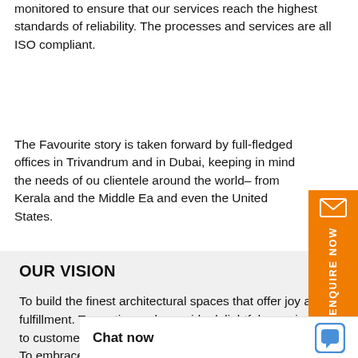monitored to ensure that our services reach the highest standards of reliability. The processes and services are all ISO compliant.
The Favourite story is taken forward by full-fledged offices in Trivandrum and in Dubai, keeping in mind the needs of our clientele around the world– from Kerala and the Middle East and even the United States.
OUR VISION
To build the finest architectural spaces that offer joy and fulfillment. To continuously provide delightful experiences to customers and nurture lifelong relationships with them. To embrace new opportunities and deliver exceptional value to all stakeholders.